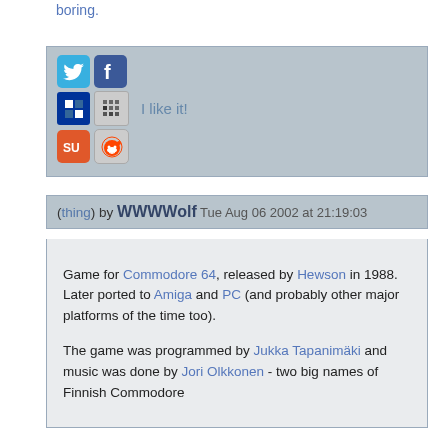boring.
[Figure (infographic): Social sharing icons row: Twitter (blue bird), Facebook (blue f), Delicious (blue square), Newsvine (grid icon), with text 'I like it!', StumbleUpon (orange su), Reddit (alien icon)]
(thing) by WWWWolf Tue Aug 06 2002 at 21:19:03
Game for Commodore 64, released by Hewson in 1988. Later ported to Amiga and PC (and probably other major platforms of the time too).

The game was programmed by Jukka Tapanimäki and music was done by Jori Olkkonen - two big names of Finnish Commodore